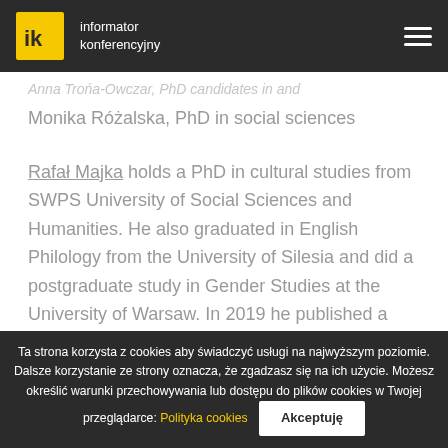informator konferencyjny
Monika Różalska, PhD in social sciences
Rafał Majka holds a PhD in cultural studies from SWPS University of Social Sciences and Humanities. He also graduated in English Philology from the University of Silesia and did a postgraduate study in Gender Studies at the University of Warsaw. In 2019 he published a book on contemporary left philosophies of social change entitled Teraźniejsze przyszłości. Współczesne wyobraźnie
Ta strona korzysta z cookies aby świadczyć usługi na najwyższym poziomie. Dalsze korzystanie ze strony oznacza, że zgadzasz się na ich użycie. Możesz określić warunki przechowywania lub dostępu do plików cookies w Twojej przeglądarce: Polityka cookies | Akceptuję